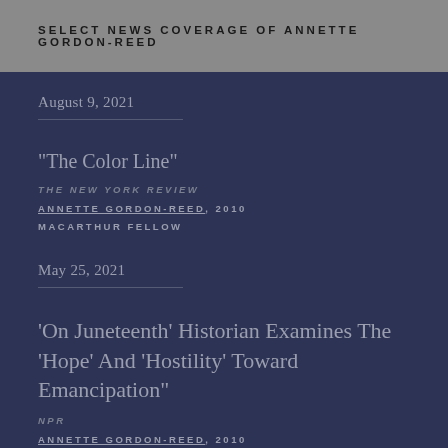SELECT NEWS COVERAGE OF ANNETTE GORDON-REED
August 9, 2021
"The Color Line"
THE NEW YORK REVIEW
ANNETTE GORDON-REED, 2010 MACARTHUR FELLOW
May 25, 2021
'On Juneteenth' Historian Examines The 'Hope' And 'Hostility' Toward Emancipation"
NPR
ANNETTE GORDON-REED, 2010